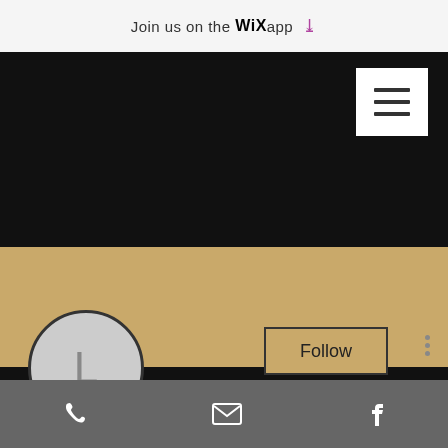Join us on the WiX app ↓
[Figure (screenshot): Mobile app UI screenshot showing a Wix website profile page. Black navigation header with hamburger menu, gold/tan cover photo band, circular avatar with letter L, Follow button, three-dot menu, profile name 'Legal injectable anabolic ste...', 0 Followers and 0 Following, chevron, and bottom toolbar with phone, email, and Facebook icons.]
Legal injectable anabolic ste...
0 Followers • 0 Following